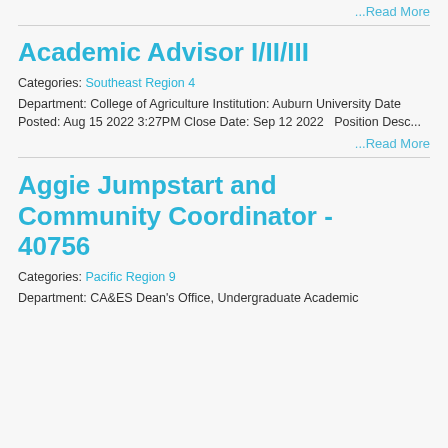...Read More
Academic Advisor I/II/III
Categories: Southeast Region 4
Department: College of Agriculture Institution: Auburn University Date Posted: Aug 15 2022 3:27PM Close Date: Sep 12 2022   Position Desc...
...Read More
Aggie Jumpstart and Community Coordinator - 40756
Categories: Pacific Region 9
Department: CA&ES Dean's Office, Undergraduate Academic